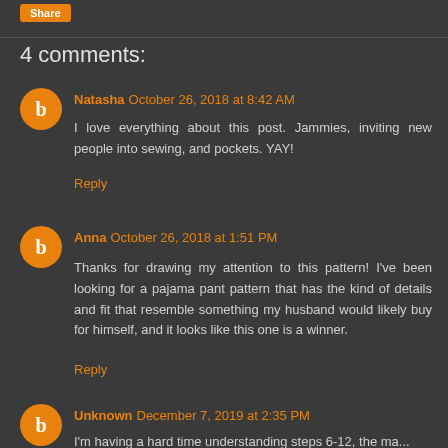4 comments:
Natasha October 26, 2018 at 8:42 AM
I love everything about this post. Jammies, inviting new people into sewing, and pockets. YAY!
Reply
Anna October 26, 2018 at 1:51 PM
Thanks for drawing my attention to this pattern! I've been looking for a pajama pant pattern that has the kind of details and fit that resemble something my husband would likely buy for himself, and it looks like this one is a winner.
Reply
Unknown December 7, 2019 at 2:35 PM
I'm having a hard time understanding steps 6-12, the ma...